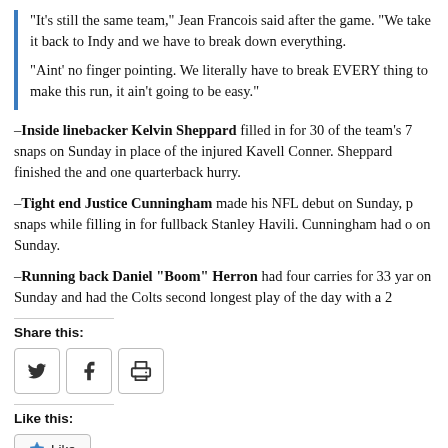“It’s still the same team,” Jean Francois said after the game. “We take it back to Indy and we have to break down everything.
“Aint’ no finger pointing. We literally have to break EVERY thing to make this run, it ain’t going to be easy.”
–Inside linebacker Kelvin Sheppard filled in for 30 of the team’s 72 snaps on Sunday in place of the injured Kavell Conner. Sheppard finished the game with and one quarterback hurry.
–Tight end Justice Cunningham made his NFL debut on Sunday, playing some snaps while filling in for fullback Stanley Havili. Cunningham had one catch on Sunday.
–Running back Daniel “Boom” Herron had four carries for 33 yards on Sunday and had the Colts second longest play of the day with a 2
Share this:
[Figure (other): Share buttons: Twitter, Facebook, Print]
Like this:
[Figure (other): Like button with star icon]